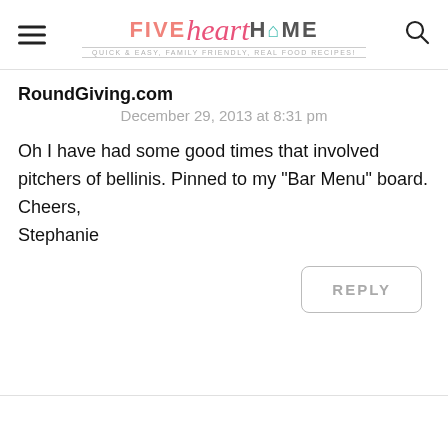FIVE heart HOME — Quick & Easy, Family Friendly, Real Food Recipes!
RoundGiving.com
December 29, 2013 at 8:31 pm
Oh I have had some good times that involved pitchers of bellinis. Pinned to my "Bar Menu" board.
Cheers,
Stephanie
REPLY